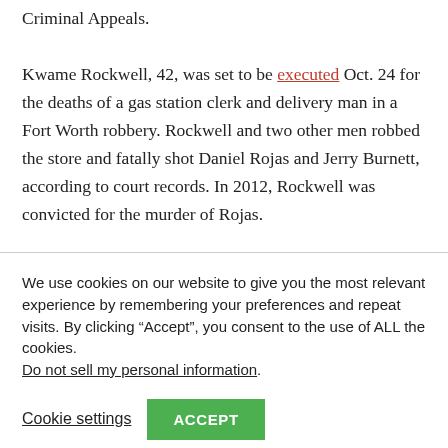Criminal Appeals. Kwame Rockwell, 42, was set to be executed Oct. 24 for the deaths of a gas station clerk and delivery man in a Fort Worth robbery. Rockwell and two other men robbed the store and fatally shot Daniel Rojas and Jerry Burnett, according to court records. In 2012, Rockwell was convicted for the murder of Rojas.
We use cookies on our website to give you the most relevant experience by remembering your preferences and repeat visits. By clicking “Accept”, you consent to the use of ALL the cookies. Do not sell my personal information.
Cookie settings  ACCEPT